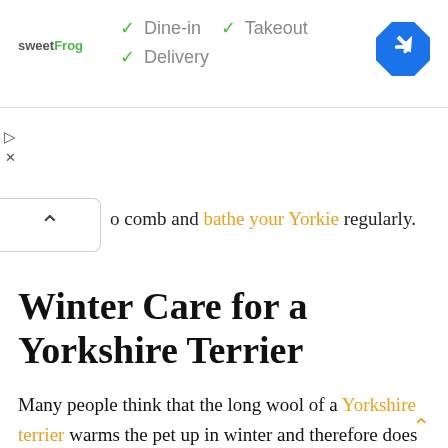[Figure (screenshot): Ad banner for sweetFrog with green checkmarks for Dine-in, Takeout, Delivery options and a blue diamond navigation icon]
o comb and bathe your Yorkie regularly.
Winter Care for a Yorkshire Terrier
Many people think that the long wool of a Yorkshire terrier warms the pet up in winter and therefore does not cut it short. Actually, that’s not really true. Yorkshires don’t have undercoats, so the hair warms up the body about as much as our head hair.
During a long wool walk, snow, sand and reagent dirt get clogged up. Snow clumps stick to the cover